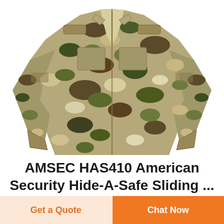[Figure (photo): Military camouflage jacket/coat in MultiCam OCP pattern, shown from torso up, no head visible, on white background]
AMSEC HAS410 American Security Hide-A-Safe Sliding ...
The interior of the AMSEC Hide a Safe is fabric-lined with